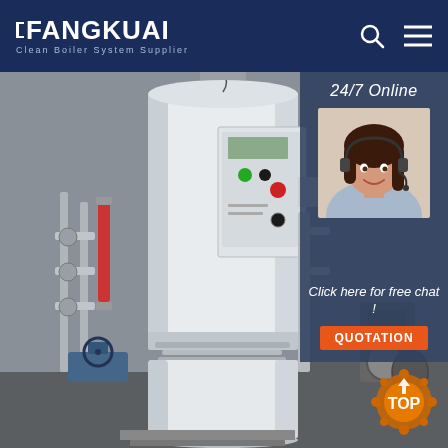FANGKUAI - Clean Boiler System Supplier
[Figure (photo): Large vertical industrial steam boiler in a factory setting, showing white cylindrical boiler with control panel, piping, and valves. Side panel shows 24/7 online chat support agent and Quotation button. TOP icon in bottom right.]